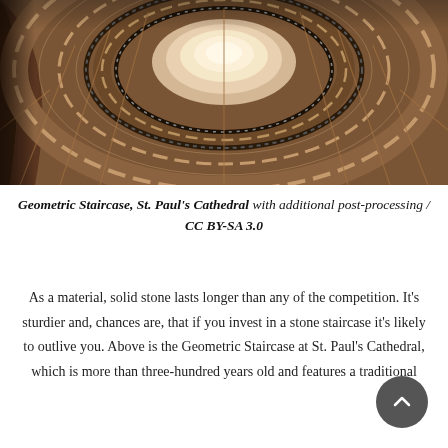[Figure (photo): Aerial looking-up photograph of the Geometric Staircase at St. Paul's Cathedral, showing a spiral staircase with warm stone tones, ornate railing detail, and light emanating from the centre.]
Geometric Staircase, St. Paul's Cathedral with additional post-processing / CC BY-SA 3.0
As a material, solid stone lasts longer than any of the competition. It's sturdier and, chances are, that if you invest in a stone staircase it's likely to outlive you. Above is the Geometric Staircase at St. Paul's Cathedral, which is more than three-hundred years old and features a traditional